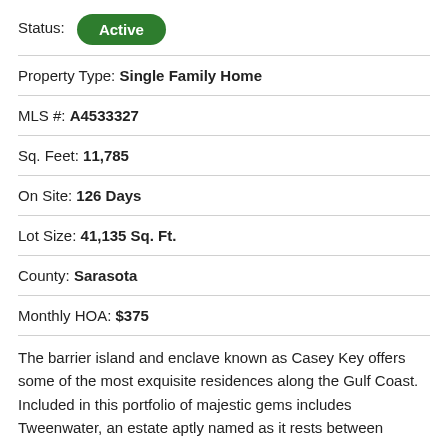Status: Active
Property Type: Single Family Home
MLS #: A4533327
Sq. Feet: 11,785
On Site: 126 Days
Lot Size: 41,135 Sq. Ft.
County: Sarasota
Monthly HOA: $375
The barrier island and enclave known as Casey Key offers some of the most exquisite residences along the Gulf Coast. Included in this portfolio of majestic gems includes Tweenwater, an estate aptly named as it rests between